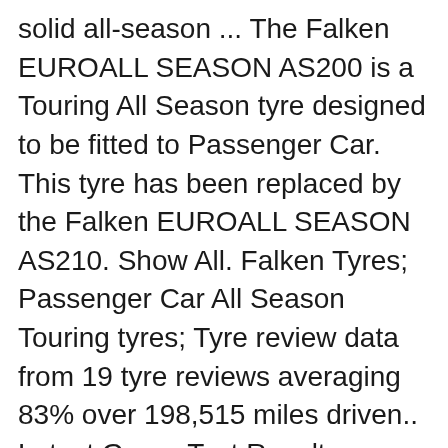solid all-season ... The Falken EUROALL SEASON AS200 is a Touring All Season tyre designed to be fitted to Passenger Car. This tyre has been replaced by the Falken EUROALL SEASON AS210. Show All. Falken Tyres; Passenger Car All Season Touring tyres; Tyre review data from 19 tyre reviews averaging 83% over 198,515 miles driven.. Latest Group Test Results
Falken Euro All Season AS200 Acheter en ligne pas cher!, Livraison gratuite sur les commandes de 2 ou plusieurs pneus, Livraison rapide chez 123pneus.fr - commandez maintenant, ... 10/04/2019 · Designed for drivers of coupes, sedans and other cars, Sincera